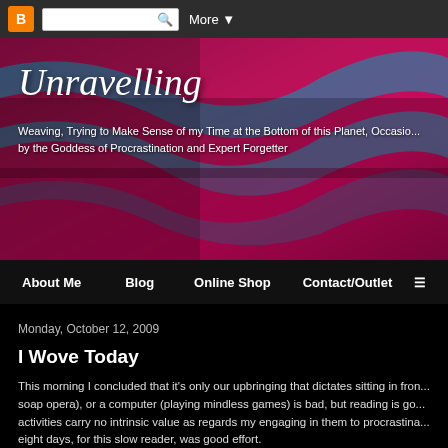Blogger navigation bar with search
[Figure (photo): Close-up photo of colorful woven textile in pink/magenta and teal/blue colors, used as blog header banner]
Unravelling
Weaving, Trying to Make Sense of my Time at the Bottom of this Planet, Occasionally Ruled by the Goddess of Procrastination and Expert Forgetter
About Me   Blog   Online Shop   Contact/Outlet
Monday, October 12, 2009
I Wove Today
This morning I concluded that it's only our upbringing that dictates sitting in front of a tv (watching soap opera), or a computer (playing mindless games) is bad, but reading is good, when in fact all these activities carry no intrinsic value as regards my engaging in them to procrastinate. Eight days, for this slow reader, was good effort.